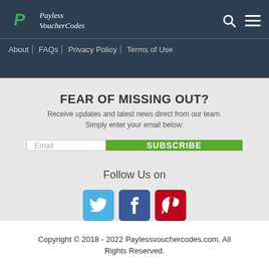PaylessVoucherCodes | About | FAQs | Privacy Policy | Terms of Use
FEAR OF MISSING OUT?
Receive updates and latest news direct from our team. Simply enter your email below:
Email | SUBSCRIBE
Follow Us on
[Figure (illustration): Twitter, Facebook, and Pinterest social media icons]
Copyright © 2018 - 2022 Paylessvouchercodes.com. All Rights Reserved.